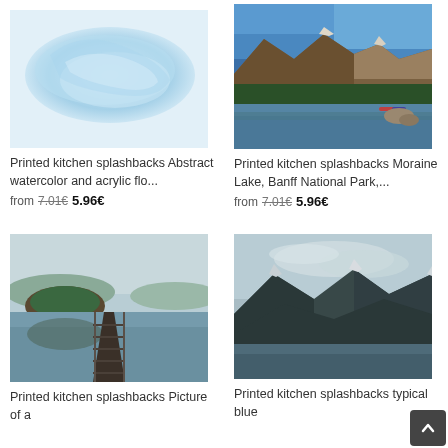[Figure (photo): Printed kitchen splashback - abstract watercolor and acrylic flow art, light blue tones]
[Figure (photo): Printed kitchen splashback - Moraine Lake, Banff National Park, turquoise lake with mountain reflection]
Printed kitchen splashbacks Abstract watercolor and acrylic flo...
from 7.01€ 5.96€
Printed kitchen splashbacks Moraine Lake, Banff National Park,...
from 7.01€ 5.96€
[Figure (photo): Printed kitchen splashback - Picture of a wooden dock on a calm lake with island reflection]
[Figure (photo): Printed kitchen splashback - typical blue mountain landscape with snow-capped peaks]
Printed kitchen splashbacks Picture of a
Printed kitchen splashbacks typical blue